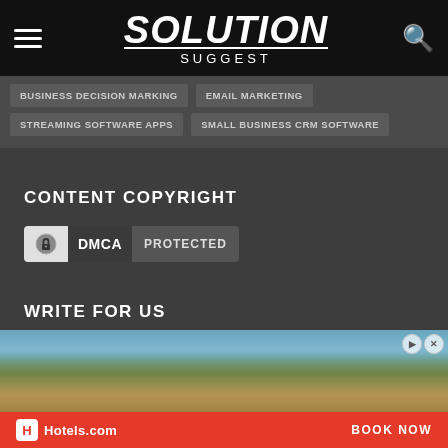SOLUTION Suggest
BUSINESS DECISION MARKING
EMAIL MARKETING
STREAMING SOFTWARE APPS
SMALL BUSINESS CRM SOFTWARE
CONTENT COPYRIGHT
[Figure (logo): DMCA Protected badge with lock icon]
WRITE FOR US
SolutionSuggest.com is approved by Google News and we're accepting in-depth guest posts from reputed SaaS companies, influencers and marketers.
[Figure (photo): Hotels.com advertisement banner showing aerial photo of resort buildings surrounded by forest with 'BOOK NOW' call to action]